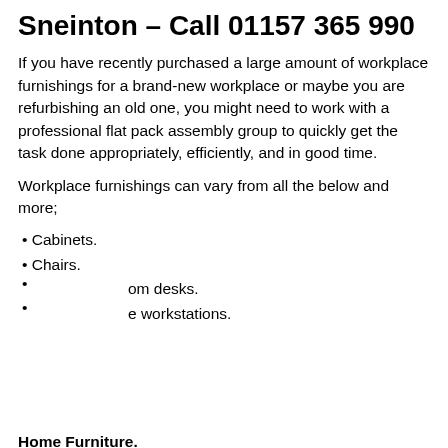Sneinton – Call 01157 365 990
If you have recently purchased a large amount of workplace furnishings for a brand-new workplace or maybe you are refurbishing an old one, you might need to work with a professional flat pack assembly group to quickly get the task done appropriately, efficiently, and in good time.
Workplace furnishings can vary from all the below and more;
• Cabinets.
• Chairs.
• [Room] desks.
• [e] workstations.
[Figure (illustration): Circular avatar illustration of a man with brown beard and hair, wearing an orange/yellow top, on a light grey circular background.]
Home Furniture.